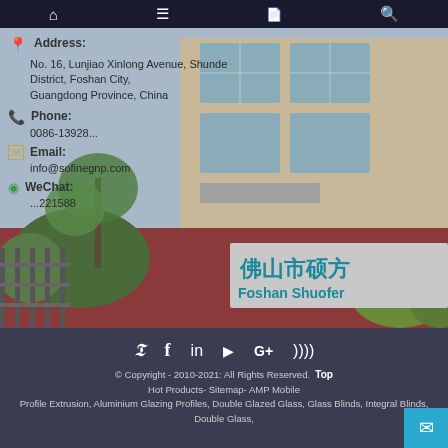Navigation bar with home, menu, document, and search icons
[Figure (photo): Exterior photo of Foshan Shuofer company building with signage showing Chinese characters and 'Foshan Shuofer' in teal, combined with contact information overlay on the left side]
Address: No. 16, Lunjiao Xinlong Avenue, Shunde District, Foshan City, Guangdong Province, China
Phone: 0086-13928...
Email: info@sofinegnp.com
WeChat: ...221588
© Copyright - 2010-2021: All Rights Reserved. Top Hot Products- Sitemap- AMP Mobile Profile Extrusion, Aluminium Glazing Profiles, Double Glazed Glass, Glass Blinds, Integral Blinds, Double Glass,